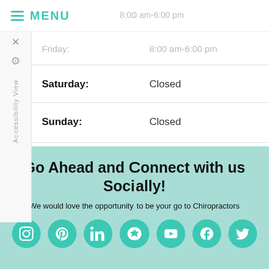MENU
| Day | Hours |
| --- | --- |
| Friday: | 8:00 am-6:00 pm |
| Saturday: | Closed |
| Sunday: | Closed |
Go Ahead and Connect with us Socially!
We would love the opportunity to be your go to Chiropractors
[Figure (infographic): Row of 7 teal circular social media icons: Instagram, Pinterest, LinkedIn, Yelp, YouTube, Facebook, Twitter]